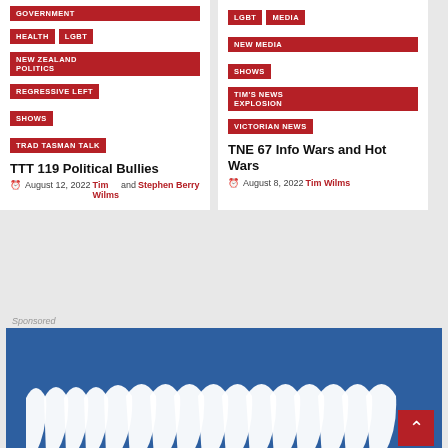GOVERNMENT
HEALTH
LGBT
NEW ZEALAND POLITICS
REGRESSIVE LEFT
SHOWS
TRAD TASMAN TALK
TTT 119 Political Bullies
August 12, 2022 Tim Wilms and Stephen Berry
LGBT
MEDIA
NEW MEDIA
SHOWS
TIM'S NEWS EXPLOSION
VICTORIAN NEWS
TNE 67 Info Wars and Hot Wars
August 8, 2022 Tim Wilms
Sponsored
[Figure (photo): Advertisement banner with blue background showing white teeth at the bottom, with a red back-to-top button in the corner]